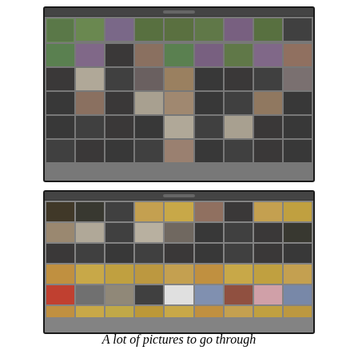[Figure (screenshot): Screenshot of a photo editing software (like Lightroom) showing a grid of thumbnail images from a wedding photo session. Multiple rows of small photos arranged in a grid layout on a dark background.]
[Figure (screenshot): Second screenshot of a photo editing software showing another grid of thumbnail images from a wedding, including outdoor venue shots, portraits, and group photos on a gray background.]
A lot of pictures to go through